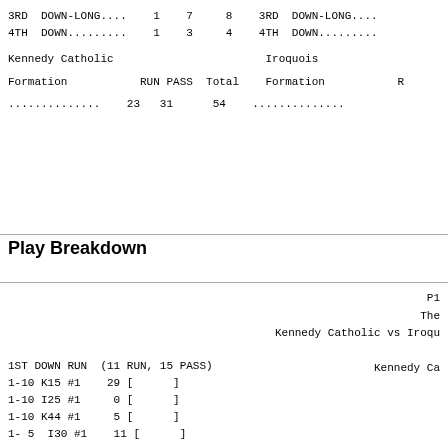3RD DOWN-LONG....    1    7     8    3RD DOWN-LONG....
4TH DOWN.........    1    3     4    4TH DOWN.........
Kennedy Catholic                       Iroquois
Formation           RUN PASS  Total   Formation           R
..............   23   31      54    ..............
Play Breakdown
P1
The
Kennedy Catholic vs Iroqu

Kennedy Ca
1ST DOWN RUN  (11 RUN, 15 PASS)
1-10 K15 #1    29 [      ]
1-10 I25 #1     0 [      ]
1-10 K44 #1     5 [      ]
1- 5  I30 #1    11 [      ]